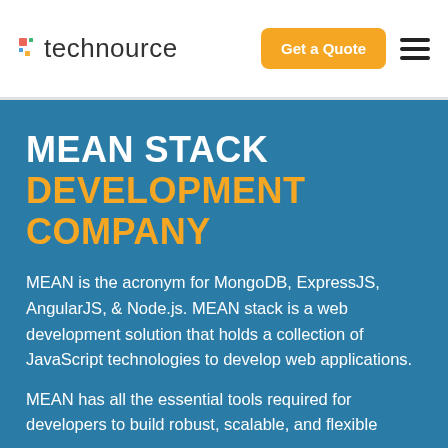technource | Get a Quote | menu
MEAN STACK
DEVELOPMENT COMPANY
MEAN is the acronym for MongoDB, ExpressJS, AngularJS, & Node.js. MEAN stack is a web development solution that holds a collection of JavaScript technologies to develop web applications.
MEAN has all the essential tools required for developers to build robust, scalable, and flexible